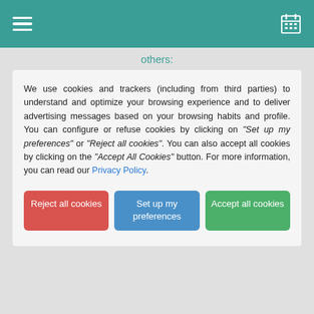[Figure (screenshot): Teal navigation header bar with hamburger menu icon on the left and calendar grid icon on the right]
others:
We use cookies and trackers (including from third parties) to understand and optimize your browsing experience and to deliver advertising messages based on your browsing habits and profile. You can configure or refuse cookies by clicking on "Set up my preferences" or "Reject all cookies". You can also accept all cookies by clicking on the "Accept All Cookies" button. For more information, you can read our Privacy Policy.
Reject all cookies
Set up my preferences
Accept all cookies